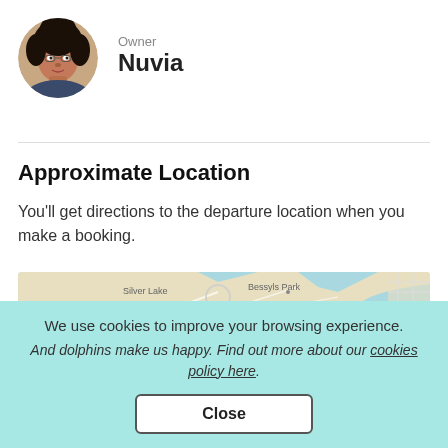[Figure (photo): Circular profile photo of a woman with dark curly hair, the owner Nuvia]
Owner
Nuvia
Approximate Location
You'll get directions to the departure location when you make a booking.
[Figure (map): A map showing Silver Lake, Bessyls Park, and Mount Homer areas with roads and water bodies]
We use cookies to improve your browsing experience.
And dolphins make us happy. Find out more about our cookies policy here.
Close